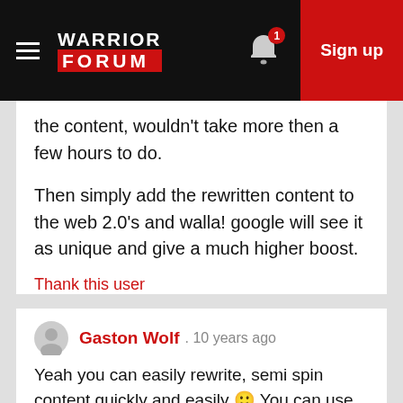Warrior Forum — Sign up
the content, wouldn't take more then a few hours to do.

Then simply add the rewritten content to the web 2.0's and walla! google will see it as unique and give a much higher boost.
Thank this user
Gaston Wolf · 10 years ago
Yeah you can easily rewrite, semi spin content quickly and easily 🙂 You can use the best spinner to